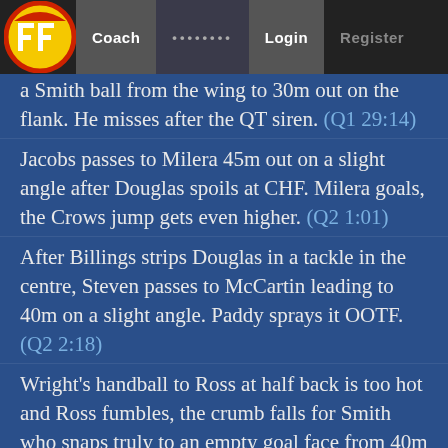FF | Coach | ••••••••  | Login | Register
a Smith ball from the wing to 30m out on the flank. He misses after the QT siren. (Q1 29:14)
Jacobs passes to Milera 45m out on a slight angle after Douglas spoils at CHF. Milera goals, the Crows jump gets even higher. (Q2 1:01)
After Billings strips Douglas in a tackle in the centre, Steven passes to McCartin leading to 40m on a slight angle. Paddy sprays it OOTF. (Q2 2:18)
Wright's handball to Ross at half back is too hot and Ross fumbles, the crumb falls for Smith who snaps truly to an empty goal face from 40m on a slight angle. (Q2 8:18)
Bruce marks 40m out on a slight angle and finally breaks the tsunami of Crow scores with his second goal. (Q2 10:18)